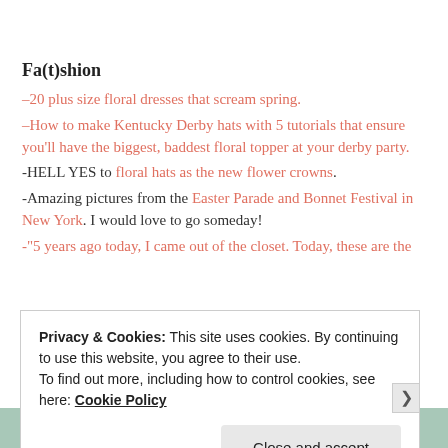Fa(t)shion
–20 plus size floral dresses that scream spring.
–How to make Kentucky Derby hats with 5 tutorials that ensure you'll have the biggest, baddest floral topper at your derby party.
-HELL YES to floral hats as the new flower crowns.
-Amazing pictures from the Easter Parade and Bonnet Festival in New York. I would love to go someday!
-"5 years ago today, I came out of the closet. Today, these are the
Privacy & Cookies: This site uses cookies. By continuing to use this website, you agree to their use.
To find out more, including how to control cookies, see here: Cookie Policy
Close and accept